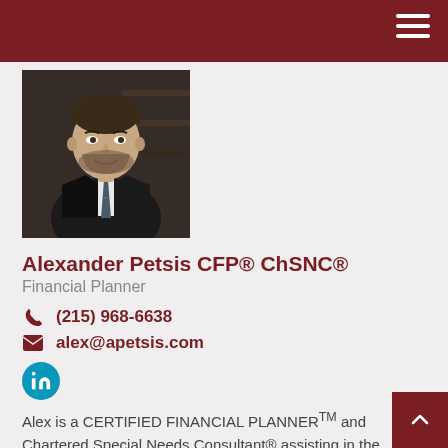[Figure (photo): Professional headshot of Alexander Petsis, a man with a beard wearing a dark pinstripe suit and tie]
Alexander Petsis CFP® ChSNC®
Financial Planner
(215) 968-6638
alex@apetsis.com
[Figure (logo): LinkedIn circular icon in teal/cyan color]
Alex is a CERTIFIED FINANCIAL PLANNER™ and Chartered Special Needs Consultant® assisting in the planning and investing areas of the practice. He also